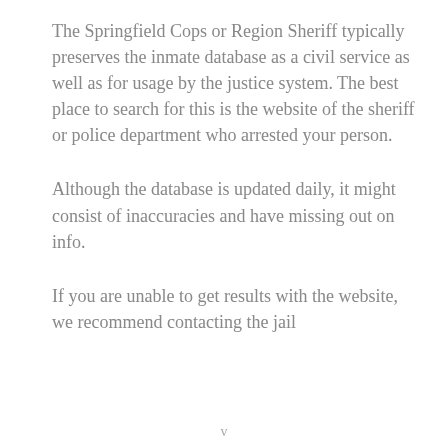The Springfield Cops or Region Sheriff typically preserves the inmate database as a civil service as well as for usage by the justice system. The best place to search for this is the website of the sheriff or police department who arrested your person.
Although the database is updated daily, it might consist of inaccuracies and have missing out on info.
If you are unable to get results with the website, we recommend contacting the jail
v